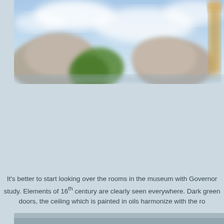[Figure (photo): Blurry outdoor photo showing a building or ruins on a hill with green trees and a blue sky with clouds. A tall narrow minaret or tower structure is visible on the right edge of the image.]
It's better to start looking over the rooms in the museum with Governor study. Elements of 16th century are clearly seen everywhere. Dark green doors, the ceiling which is painted in oils harmonize with the ro
[Figure (photo): Bottom partial photo, partially visible at the bottom of the page.]